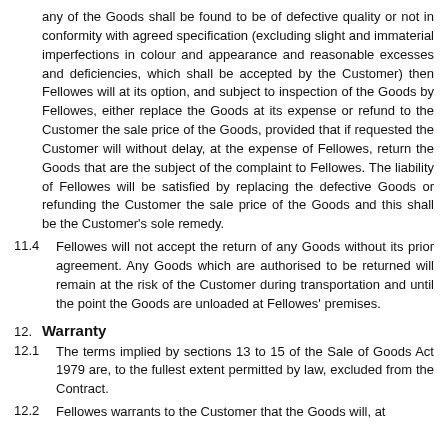any of the Goods shall be found to be of defective quality or not in conformity with agreed specification (excluding slight and immaterial imperfections in colour and appearance and reasonable excesses and deficiencies, which shall be accepted by the Customer) then Fellowes will at its option, and subject to inspection of the Goods by Fellowes, either replace the Goods at its expense or refund to the Customer the sale price of the Goods, provided that if requested the Customer will without delay, at the expense of Fellowes, return the Goods that are the subject of the complaint to Fellowes. The liability of Fellowes will be satisfied by replacing the defective Goods or refunding the Customer the sale price of the Goods and this shall be the Customer's sole remedy.
11.4    Fellowes will not accept the return of any Goods without its prior agreement. Any Goods which are authorised to be returned will remain at the risk of the Customer during transportation and until the point the Goods are unloaded at Fellowes' premises.
12. Warranty
12.1    The terms implied by sections 13 to 15 of the Sale of Goods Act 1979 are, to the fullest extent permitted by law, excluded from the Contract.
12.2    Fellowes warrants to the Customer that the Goods will, at